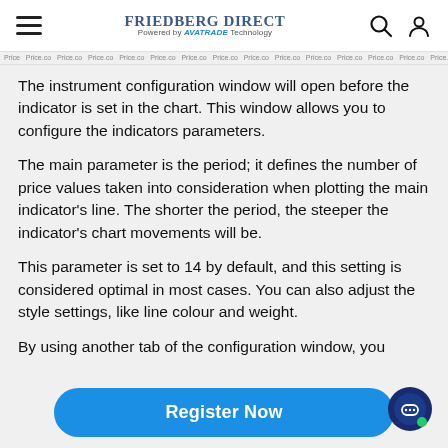FRIEDBERG DIRECT Powered by AVATRADE Technology
The instrument configuration window will open before the indicator is set in the chart. This window allows you to configure the indicators parameters.
The main parameter is the period; it defines the number of price values taken into consideration when plotting the main indicator's line. The shorter the period, the steeper the indicator's chart movements will be.
This parameter is set to 14 by default, and this setting is considered optimal in most cases. You can also adjust the style settings, like line colour and weight.
By using another tab of the configuration window, you
Register Now